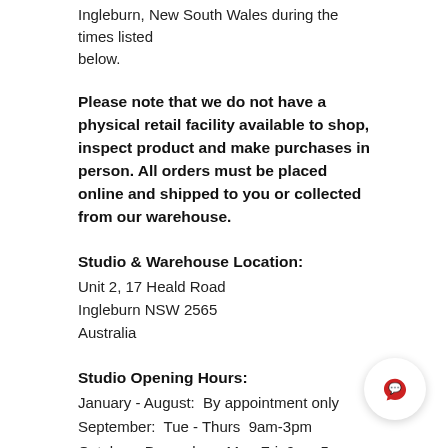Ingleburn, New South Wales during the times listed below.
Please note that we do not have a physical retail facility available to shop, inspect product and make purchases in person. All orders must be placed online and shipped to you or collected from our warehouse.
Studio & Warehouse Location:
Unit 2, 17 Heald Road
Ingleburn NSW 2565
Australia
Studio Opening Hours:
January - August:  By appointment only
September:  Tue - Thurs  9am-3pm
October - December:  Mon-Fri  9am-5pm
If you would like more information on any of the